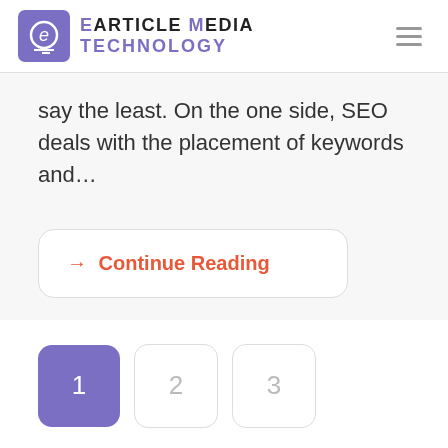eArticle Media Technology
say the least. On the one side, SEO deals with the placement of keywords and…
→ Continue Reading
1  2  3